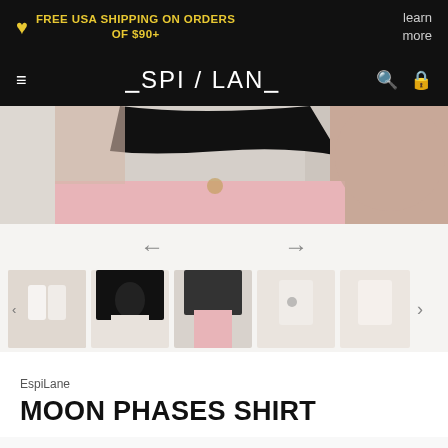FREE USA SHIPPING ON ORDERS OF $90+   learn more
ESPI / LANE
[Figure (photo): Close-up photo of a person wearing a black crop top with pink pants, cropped at mid-torso]
[Figure (photo): Navigation arrows (left and right) for image carousel]
[Figure (photo): Row of five product thumbnail images showing Moon Phases Shirt in white and black variants]
EspiLane
MOON PHASES SHIRT